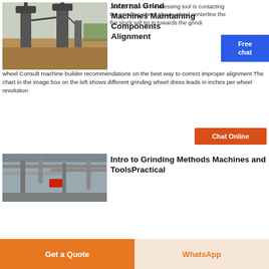[Figure (photo): Industrial grinding facility with large metal towers/cyclones and earthworks, outdoor setting with trees in background]
Internal Grind Machines Maintaining Components Alignment
Jun 26 2015  If the dressing tool is contacting the grinding wheel above wheel centerline the flat stock will tip in towards the grinding wheel Consult machine builder recommendations on the best way to correct improper alignment The chart in the image box on the left shows different grinding wheel dress leads in inches per wheel revolution
[Figure (photo): Indoor industrial facility interior showing pipes, ducts and industrial equipment on ceiling and walls, with red display panel visible]
Intro to Grinding Methods Machines and ToolsPractical